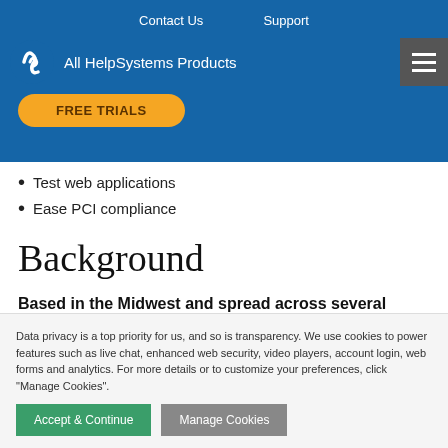Contact Us   Support
All HelpSystems Products
FREE TRIALS
Test web applications
Ease PCI compliance
Background
Based in the Midwest and spread across several other campus locations, this university is a large, geographically
Data privacy is a top priority for us, and so is transparency. We use cookies to power features such as live chat, enhanced web security, video players, account login, web forms and analytics. For more details or to customize your preferences, click "Manage Cookies".
Accept & Continue   Manage Cookies